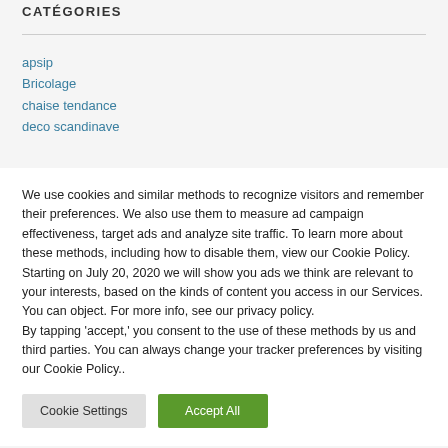CATÉGORIES
apsip
Bricolage
chaise tendance
deco scandinave
We use cookies and similar methods to recognize visitors and remember their preferences. We also use them to measure ad campaign effectiveness, target ads and analyze site traffic. To learn more about these methods, including how to disable them, view our Cookie Policy. Starting on July 20, 2020 we will show you ads we think are relevant to your interests, based on the kinds of content you access in our Services. You can object. For more info, see our privacy policy.
By tapping 'accept,' you consent to the use of these methods by us and third parties. You can always change your tracker preferences by visiting our Cookie Policy..
Cookie Settings
Accept All